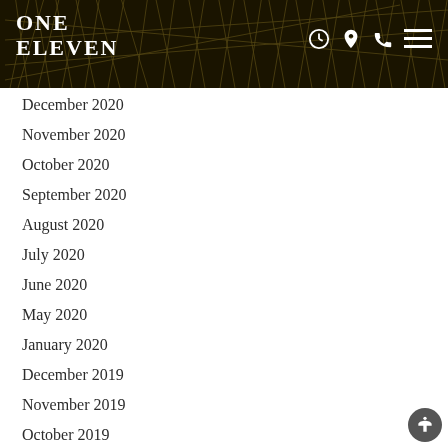[Figure (screenshot): One Eleven restaurant website header with logo, navigation icons (clock, location pin, phone, menu), and dark background with grass/reed pattern]
December 2020
November 2020
October 2020
September 2020
August 2020
July 2020
June 2020
May 2020
January 2020
December 2019
November 2019
October 2019
September 2019